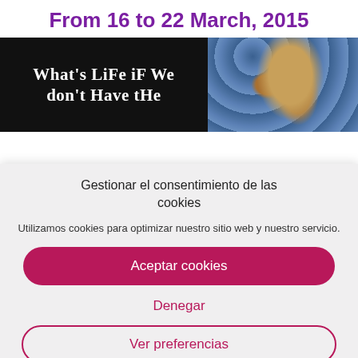From 16 to 22 March, 2015
[Figure (illustration): Split image: left half shows black background with white stylized text reading 'What's life if we don't have the' in a grunge/handwritten font; right half shows a painting with blue dotted background and a figure wearing a hat (appears to be Van Gogh style).]
Gestionar el consentimiento de las cookies
Utilizamos cookies para optimizar nuestro sitio web y nuestro servicio.
Aceptar cookies
Denegar
Ver preferencias